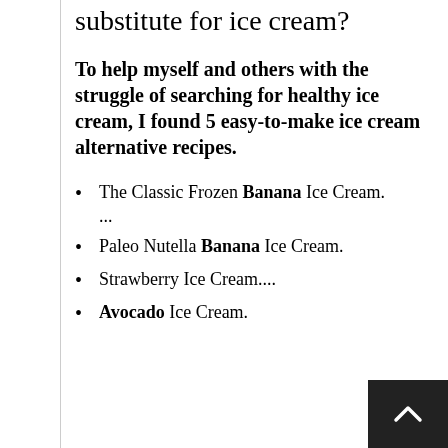What is a healthier substitute for ice cream?
To help myself and others with the struggle of searching for healthy ice cream, I found 5 easy-to-make ice cream alternative recipes.
The Classic Frozen Banana Ice Cream. ...
Paleo Nutella Banana Ice Cream.
Strawberry Ice Cream....
Avocado Ice Cream.